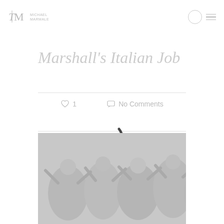RM MICHAEL MARMALE
Marshall's Italian Job
1  No Comments
[Figure (illustration): Loading spinner — dark curved arc indicating page load in progress]
Social share icons: facebook, twitter, google+, linkedin, pinterest
[Figure (photo): Group of people gesturing expressively at an indoor event, faded/light treatment]